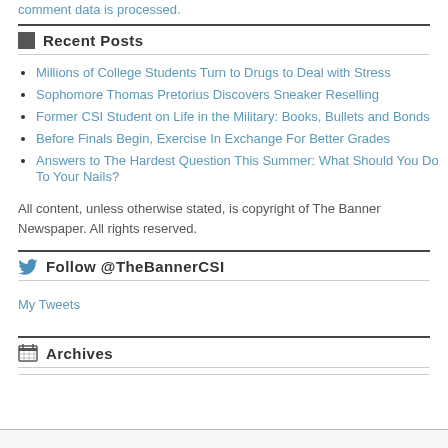comment data is processed.
Recent Posts
Millions of College Students Turn to Drugs to Deal with Stress
Sophomore Thomas Pretorius Discovers Sneaker Reselling
Former CSI Student on Life in the Military: Books, Bullets and Bonds
Before Finals Begin, Exercise In Exchange For Better Grades
Answers to The Hardest Question This Summer: What Should You Do To Your Nails?
All content, unless otherwise stated, is copyright of The Banner Newspaper. All rights reserved.
Follow @TheBannerCSI
My Tweets
Archives